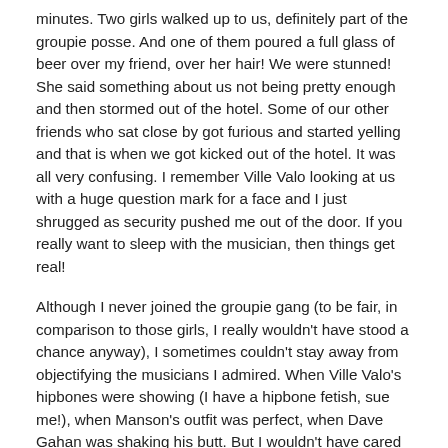minutes. Two girls walked up to us, definitely part of the groupie posse. And one of them poured a full glass of beer over my friend, over her hair! We were stunned! She said something about us not being pretty enough and then stormed out of the hotel. Some of our other friends who sat close by got furious and started yelling and that is when we got kicked out of the hotel. It was all very confusing. I remember Ville Valo looking at us with a huge question mark for a face and I just shrugged as security pushed me out of the door. If you really want to sleep with the musician, then things get real!
Although I never joined the groupie gang (to be fair, in comparison to those girls, I really wouldn't have stood a chance anyway), I sometimes couldn't stay away from objectifying the musicians I admired. When Ville Valo's hipbones were showing (I have a hipbone fetish, sue me!), when Manson's outfit was perfect, when Dave Gahan was shaking his butt. But I wouldn't have cared if a guy looking like a copy of them was standing next to me. It was the fact that they are talented and creative artists that made me look at them differently...